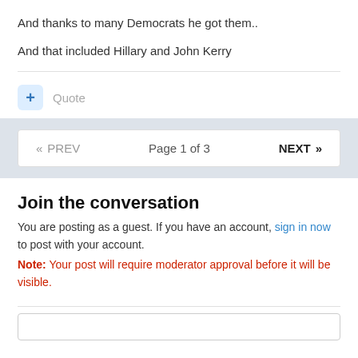And thanks to many Democrats he got them..
And that included Hillary and John Kerry
+ Quote
« PREV   Page 1 of 3   NEXT »
Join the conversation
You are posting as a guest. If you have an account, sign in now to post with your account.
Note: Your post will require moderator approval before it will be visible.